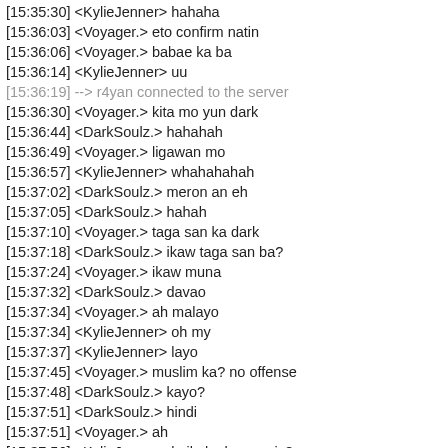[15:35:30] <KylieJenner> hahaha
[15:36:03] <Voyager.> eto confirm natin
[15:36:06] <Voyager.> babae ka ba
[15:36:14] <KylieJenner> uu
[15:36:19] --> r4yan connected to the server
[15:36:30] <Voyager.> kita mo yun dark
[15:36:44] <DarkSoulz.> hahahah
[15:36:49] <Voyager.> ligawan mo
[15:36:57] <KylieJenner> whahahahah
[15:37:02] <DarkSoulz.> meron an eh
[15:37:05] <DarkSoulz.> hahah
[15:37:10] <Voyager.> taga san ka dark
[15:37:18] <DarkSoulz.> ikaw taga san ba?
[15:37:24] <Voyager.> ikaw muna
[15:37:32] <DarkSoulz.> davao
[15:37:34] <Voyager.> ah malayo
[15:37:34] <KylieJenner> oh my
[15:37:37] <KylieJenner> layo
[15:37:45] <Voyager.> muslim ka? no offense
[15:37:48] <DarkSoulz.> kayo?
[15:37:51] <DarkSoulz.> hindi
[15:37:51] <Voyager.> ah
[15:37:56] <KylieJenner> kaila ka kay yanix?
[15:37:59] <DarkSoulz.> oo
[15:38:01] <DarkSoulz.> jhahahha
[15:38:08] <KylieJenner> ...